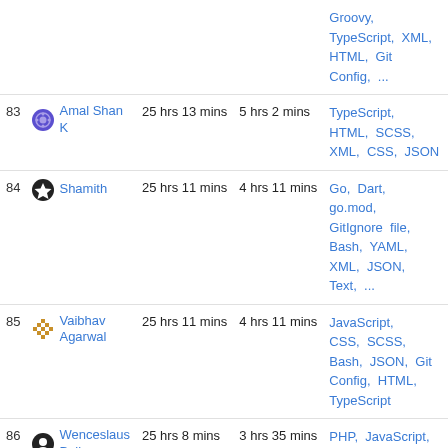| # | User | Total | Daily avg | Languages |
| --- | --- | --- | --- | --- |
|  |  |  |  | Groovy, TypeScript, XML, HTML, Git Config, ... |
| 83 | Amal Shan K | 25 hrs 13 mins | 5 hrs 2 mins | TypeScript, HTML, SCSS, XML, CSS, JSON |
| 84 | Shamith | 25 hrs 11 mins | 4 hrs 11 mins | Go, Dart, go.mod, GitIgnore file, Bash, YAML, XML, JSON, Text, ... |
| 85 | Vaibhav Agarwal | 25 hrs 11 mins | 4 hrs 11 mins | JavaScript, CSS, SCSS, Bash, JSON, Git Config, HTML, TypeScript |
| 86 | Wenceslaus Dsilva | 25 hrs 8 mins | 3 hrs 35 mins | PHP, JavaScript, JSON, AUTO_DETECTED, Log, systemd |